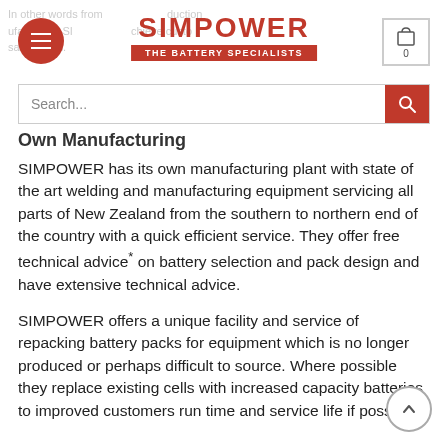SIMPOWER – THE BATTERY SPECIALISTS
Own Manufacturing
SIMPOWER has its own manufacturing plant with state of the art welding and manufacturing equipment servicing all parts of New Zealand from the southern to northern end of the country with a quick efficient service. They offer free technical advice* on battery selection and pack design and have extensive technical advice.
SIMPOWER offers a unique facility and service of repacking battery packs for equipment which is no longer produced or perhaps difficult to source. Where possible they replace existing cells with increased capacity batteries to improved customers run time and service life if possible.